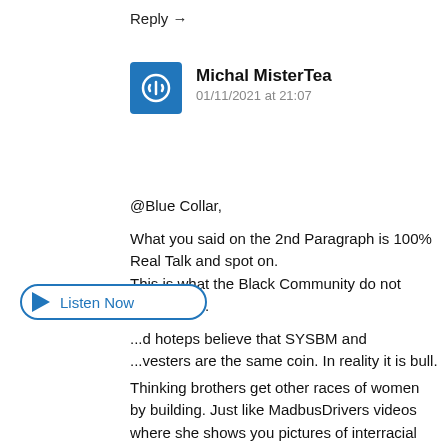Reply →
Michal MisterTea
01/11/2021 at 21:07
@Blue Collar,

What you said on the 2nd Paragraph is 100% Real Talk and spot on.
This is what the Black Community do not understand.
...d hoteps believe that SYSBM and ...vesters are the same coin. In reality it is bull.

Thinking brothers get other races of women by building. Just like MadbusDrivers videos where she shows you pictures of interracial couple.
To me, the pictures means 'If you build, they come; if you become better version of yourself, they come; if you improve your quality of life, you get options and
[Figure (other): Listen Now button with blue play triangle icon and blue oval border]